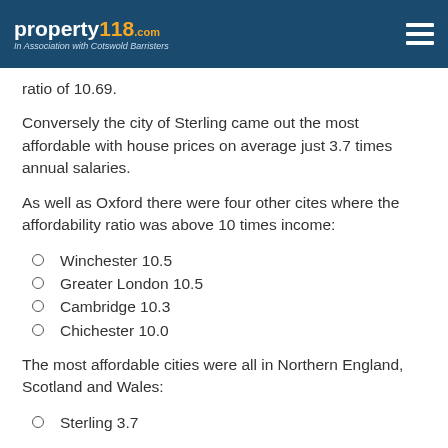property118.com — In Association with Cotswold Barristers
ratio of 10.69.
Conversely the city of Sterling came out the most affordable with house prices on average just 3.7 times annual salaries.
As well as Oxford there were four other cites where the affordability ratio was above 10 times income:
Winchester 10.5
Greater London 10.5
Cambridge 10.3
Chichester 10.0
The most affordable cities were all in Northern England, Scotland and Wales:
Sterling 3.7